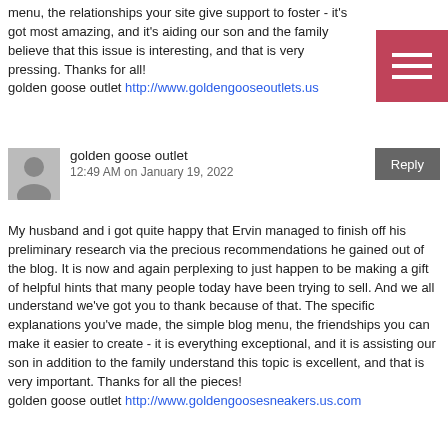menu, the relationships your site give support to foster - it's got most amazing, and it's aiding our son and the family believe that this issue is interesting, and that is very pressing. Thanks for all!
golden goose outlet http://www.goldengooseoutlets.us
golden goose outlet
12:49 AM on January 19, 2022
My husband and i got quite happy that Ervin managed to finish off his preliminary research via the precious recommendations he gained out of the blog. It is now and again perplexing to just happen to be making a gift of helpful hints that many people today have been trying to sell. And we all understand we've got you to thank because of that. The specific explanations you've made, the simple blog menu, the friendships you can make it easier to create - it is everything exceptional, and it is assisting our son in addition to the family understand this topic is excellent, and that is very important. Thanks for all the pieces!
golden goose outlet http://www.goldengoosesneakers.us.com
Tedfourn
12:50 AM on January 19, 2022
best generic cialis brand
lebron shoes